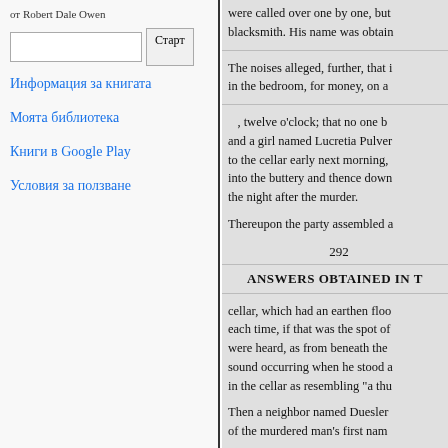от Robert Dale Owen
Информация за книгата
Моята библиотека
Книги в Google Play
Условия за ползване
were called over one by one, but blacksmith. His name was obtain
The noises alleged, further, that i in the bedroom, for money, on a
, twelve o'clock; that no one b and a girl named Lucretia Pulve to the cellar early next morning, into the buttery and thence down the night after the murder.
Thereupon the party assembled a
292
ANSWERS OBTAINED IN T
cellar, which had an earthen floo each time, if that was the spot of were heard, as from beneath the sound occurring when he stood a in the cellar as resembling "a thu
Then a neighbor named Duesler of the murdered man's first nam